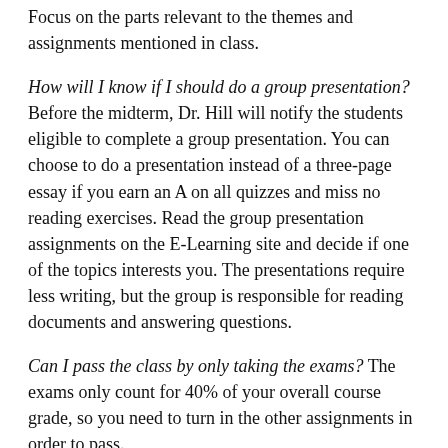Focus on the parts relevant to the themes and assignments mentioned in class.
How will I know if I should do a group presentation? Before the midterm, Dr. Hill will notify the students eligible to complete a group presentation. You can choose to do a presentation instead of a three-page essay if you earn an A on all quizzes and miss no reading exercises. Read the group presentation assignments on the E-Learning site and decide if one of the topics interests you. The presentations require less writing, but the group is responsible for reading documents and answering questions.
Can I pass the class by only taking the exams? The exams only count for 40% of your overall course grade, so you need to turn in the other assignments in order to pass.
What is plagiarism, and what are the consequences? Plagiarism includes using other people's work without